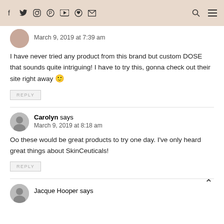Social media icons and navigation bar
March 9, 2019 at 7:39 am
I have never tried any product from this brand but custom DOSE that sounds quite intriguing! I have to try this, gonna check out their site right away 🙂
REPLY
Carolyn says
March 9, 2019 at 8:18 am
Oo these would be great products to try one day. I've only heard great things about SkinCeuticals!
REPLY
Jacque Hooper says